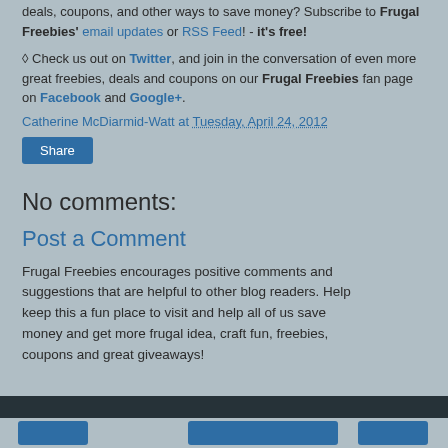deals, coupons, and other ways to save money? Subscribe to Frugal Freebies' email updates or RSS Feed! - it's free!
◊ Check us out on Twitter, and join in the conversation of even more great freebies, deals and coupons on our Frugal Freebies fan page on Facebook and Google+.
Catherine McDiarmid-Watt at Tuesday, April 24, 2012
Share
No comments:
Post a Comment
Frugal Freebies encourages positive comments and suggestions that are helpful to other blog readers. Help keep this a fun place to visit and help all of us save money and get more frugal idea, craft fun, freebies, coupons and great giveaways!